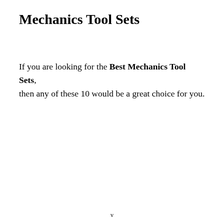Mechanics Tool Sets
If you are looking for the Best Mechanics Tool Sets, then any of these 10 would be a great choice for you.
v